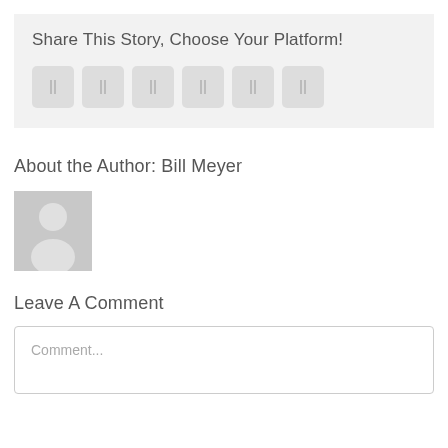Share This Story, Choose Your Platform!
[Figure (other): Six social media share icon buttons rendered as grey rounded squares with small icons]
About the Author: Bill Meyer
[Figure (photo): Generic grey placeholder avatar showing a silhouette of a person]
Leave A Comment
Comment...